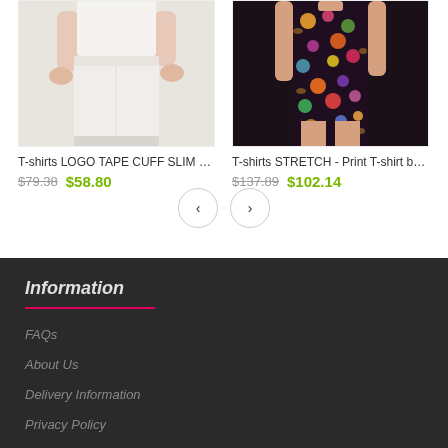[Figure (photo): Product photo of white slim fit jogger pants with black drawstring, cropped at waist level showing lower torso and legs on a light background]
T-shirts LOGO TAPE CUFF SLIM F…
$79.38  $58.80
[Figure (photo): Product photo of black floral print stretch t-shirt/dress, showing torso and legs with colorful flower pattern on dark background]
T-shirts STRETCH - Print T-shirt black
$137.89  $102.14
Information
FAQs
About Us
Delivery Information
Privacy Policy